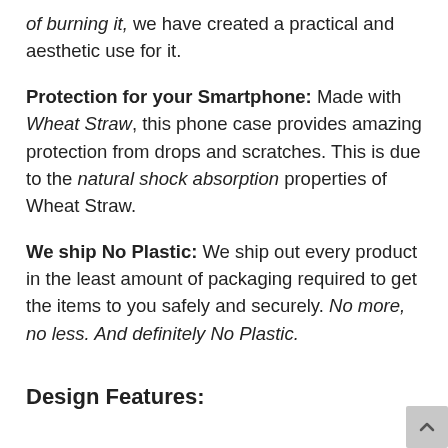of burning it, we have created a practical and aesthetic use for it.
Protection for your Smartphone: Made with Wheat Straw, this phone case provides amazing protection from drops and scratches. This is due to the natural shock absorption properties of Wheat Straw.
We ship No Plastic: We ship out every product in the least amount of packaging required to get the items to you safely and securely. No more, no less. And definitely No Plastic.
Design Features: